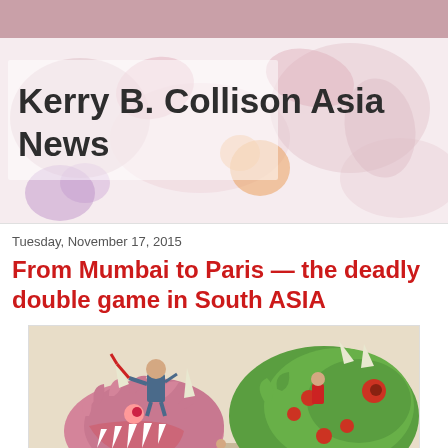Kerry B. Collison Asia News
Tuesday, November 17, 2015
From Mumbai to Paris — the deadly double game in South ASIA
[Figure (illustration): Political cartoon illustration showing a figure standing on a pink monster/beast with a large open mouth full of teeth, holding red objects, next to a large green dragon creature with red spots, and a small green figure on the ground.]